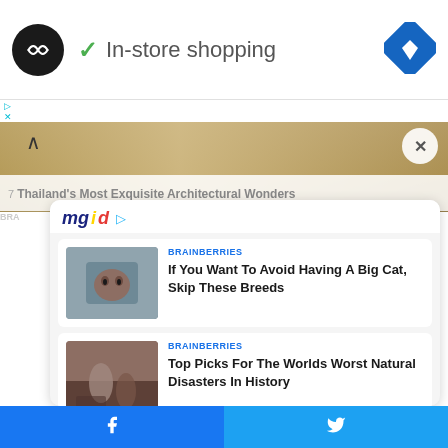[Figure (screenshot): Mobile app screenshot showing in-store shopping interface with logo, navigation diamond icon, mgid ad widget with two article recommendations, and social share bar]
In-store shopping
7 Thailand's Most Exquisite Architectural Wonders
BRAINBERRIES
BRAINBERRIES
If You Want To Avoid Having A Big Cat, Skip These Breeds
BRAINBERRIES
Top Picks For The Worlds Worst Natural Disasters In History